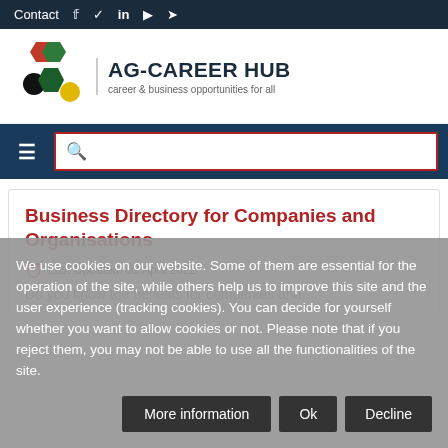Contact
[Figure (logo): AG-Career Hub logo with hexagon shapes in red, green, black, and yellow]
AG-CAREER HUB
career & business opportunities for all
Business Directory for Companies and Organisations
Last Updated: 03 April 2022
We use cookies on our website. Some of them are essential for the operation of the site, while others help us to improve this site and the user experience (tracking cookies). You can decide for yourself whether you want to allow cookies or not. Please note that if you reject them, you may not be able to use all the functionalities of the site.